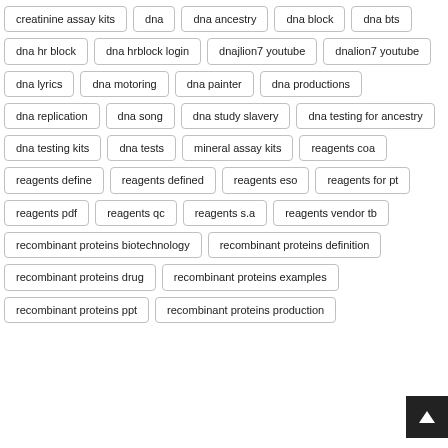creatinine assay kits
dna
dna ancestry
dna block
dna bts
dna hr block
dna hrblock login
dnajlion7 youtube
dnalion7 youtube
dna lyrics
dna motoring
dna painter
dna productions
dna replication
dna song
dna study slavery
dna testing for ancestry
dna testing kits
dna tests
mineral assay kits
reagents coa
reagents define
reagents defined
reagents eso
reagents for pt
reagents pdf
reagents qc
reagents s.a
reagents vendor tb
recombinant proteins biotechnology
recombinant proteins definition
recombinant proteins drug
recombinant proteins examples
recombinant proteins ppt
recombinant proteins production